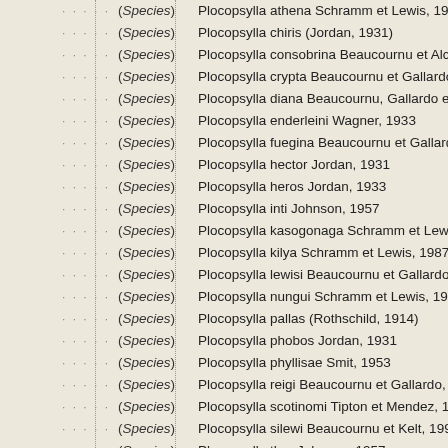(Species) Plocopsylla athena Schramm et Lewis, 1987
(Species) Plocopsylla chiris (Jordan, 1931)
(Species) Plocopsylla consobrina Beaucournu et Alcover, 19
(Species) Plocopsylla crypta Beaucournu et Gallardo, 1989
(Species) Plocopsylla diana Beaucournu, Gallardo et Launay
(Species) Plocopsylla enderleini Wagner, 1933
(Species) Plocopsylla fuegina Beaucournu et Gallardo, 1978
(Species) Plocopsylla hector Jordan, 1931
(Species) Plocopsylla heros Jordan, 1933
(Species) Plocopsylla inti Johnson, 1957
(Species) Plocopsylla kasogonaga Schramm et Lewis, 1988
(Species) Plocopsylla kilya Schramm et Lewis, 1987
(Species) Plocopsylla lewisi Beaucournu et Gallardo, 1988
(Species) Plocopsylla nungui Schramm et Lewis, 1987
(Species) Plocopsylla pallas (Rothschild, 1914)
(Species) Plocopsylla phobos Jordan, 1931
(Species) Plocopsylla phyllisae Smit, 1953
(Species) Plocopsylla reigi Beaucournu et Gallardo, 1978
(Species) Plocopsylla scotinomi Tipton et Mendez, 1966
(Species) Plocopsylla silewi Beaucournu et Kelt, 1990
(Species) Plocopsylla thor Johnson, 1957
(Species) Plocopsylla traubi Del Ponte, 1968